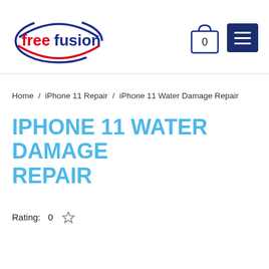[Figure (logo): FreeFusion logo: oval shape with blue arc on top and red arc on bottom, 'free' in red bold and 'fusion' in blue bold text]
[Figure (other): Shopping cart icon with number 0 inside, and a dark navy blue hamburger menu button with three white horizontal lines]
Home / iPhone 11 Repair / iPhone 11 Water Damage Repair
IPHONE 11 WATER DAMAGE REPAIR
Rating: 0 ★